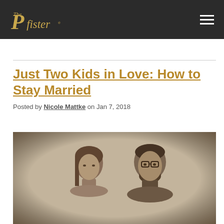The Pfister
Just Two Kids in Love: How to Stay Married
Posted by Nicole Mattke on Jan 7, 2018
[Figure (photo): Black and white / sepia portrait photo of a woman and a man side by side. The woman has straight brown hair and a calm expression. The man has dark hair, a beard, and glasses.]